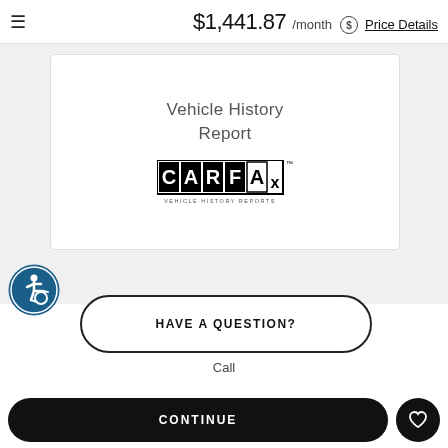≡  $1,441.87 /month  $ Price Details
[Figure (logo): CARFAX Vehicle History Reports logo inside a white card with text 'Vehicle History Report' above it]
[Figure (infographic): Blue circular accessibility icon (wheelchair user symbol)]
HAVE A QUESTION?
Call
CONTINUE